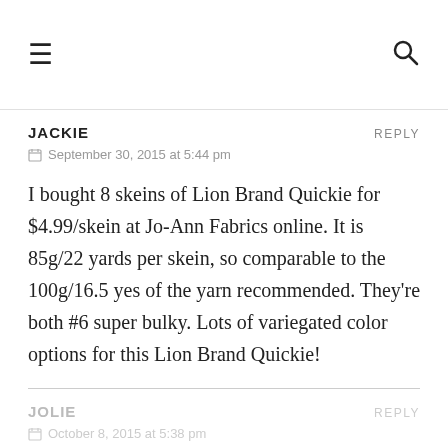☰ [menu icon] | 🔍 [search icon]
JACKIE
REPLY
September 30, 2015 at 5:44 pm
I bought 8 skeins of Lion Brand Quickie for $4.99/skein at Jo-Ann Fabrics online. It is 85g/22 yards per skein, so comparable to the 100g/16.5 yes of the yarn recommended. They're both #6 super bulky. Lots of variegated color options for this Lion Brand Quickie!
JOLIE
REPLY
October 8, 2015 at 5:38 pm